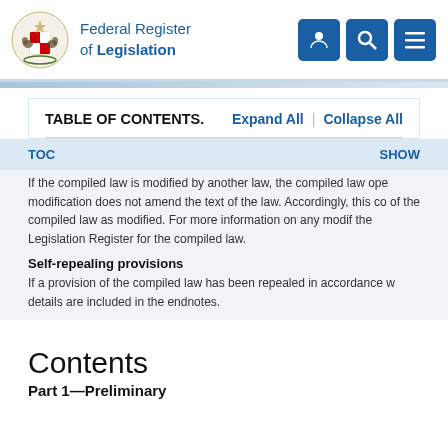Federal Register of Legislation
TABLE OF CONTENTS.   Expand All   |   Collapse All
TOC   SHOW
If the compiled law is modified by another law, the compiled law ope modification does not amend the text of the law. Accordingly, this co of the compiled law as modified. For more information on any modif the Legislation Register for the compiled law.
Self-repealing provisions
If a provision of the compiled law has been repealed in accordance w details are included in the endnotes.
Contents
Part 1—Preliminary